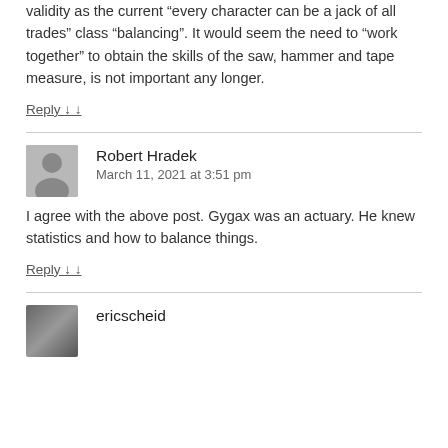validity as the current “every character can be a jack of all trades” class “balancing”. It would seem the need to “work together” to obtain the skills of the saw, hammer and tape measure, is not important any longer.
Reply ↓
Robert Hradek
March 11, 2021 at 3:51 pm
I agree with the above post. Gygax was an actuary. He knew statistics and how to balance things.
Reply ↓
ericscheid